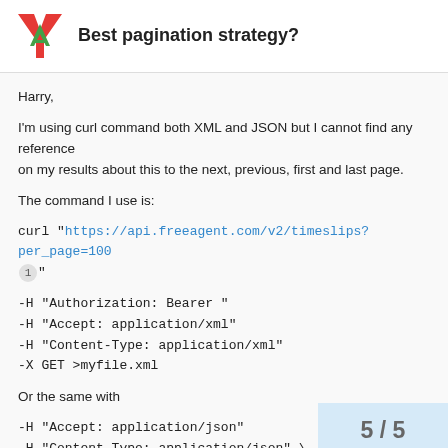Best pagination strategy?
Harry,

I'm using curl command both XML and JSON but I cannot find any reference
on my results about this to the next, previous, first and last page.

The command I use is:

curl "https://api.freeagent.com/v2/timeslips?per_page=100 1 "
-H "Authorization: Bearer "
-H "Accept: application/xml"
-H "Content-Type: application/xml"
-X GET >myfile.xml

Or the same with

-H "Accept: application/json"
-H "Content-Type: application/json" \

Could you please how can I get such pa...